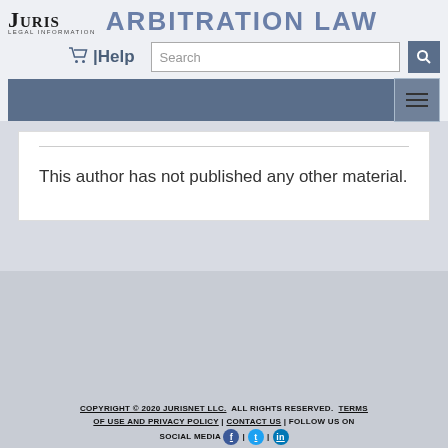JURIS LEGAL INFORMATION — Arbitration Law
This author has not published any other material.
COPYRIGHT © 2020 JURISNET LLC. ALL RIGHTS RESERVED. TERMS OF USE AND PRIVACY POLICY | CONTACT US | FOLLOW US ON SOCIAL MEDIA